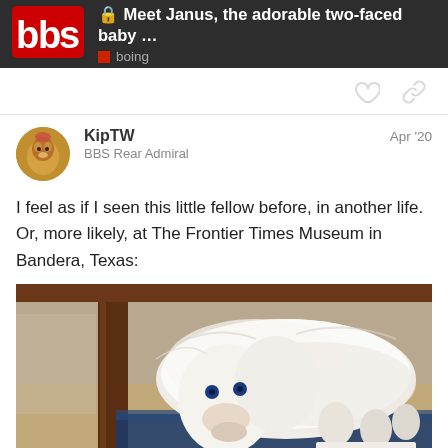Meet Janus, the adorable two-faced baby ... | boing
KipTW
BBS Rear Admiral
Apr '20
I feel as if I seen this little fellow before, in another life. Or, more likely, at The Frontier Times Museum in Bandera, Texas:
[Figure (photo): Taxidermied two-faced (Janus) baby goat or calf with white fluffy fur, displayed on blue velvet, with a small label card visible in the lower right corner. A wooden post is in the foreground. The animal has two faces visible with blue glass eyes.]